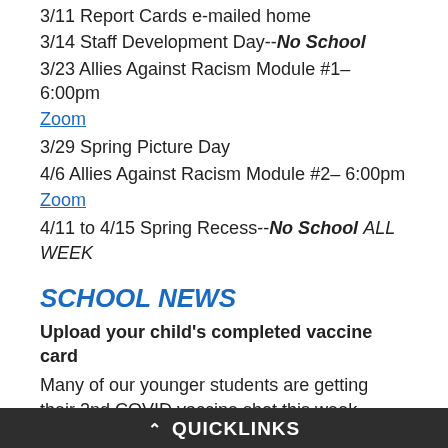3/11 Report Cards e-mailed home
3/14 Staff Development Day--No School
3/23 Allies Against Racism Module #1– 6:00pm
Zoom
3/29 Spring Picture Day
4/6 Allies Against Racism Module #2– 6:00pm
Zoom
4/11 to 4/15 Spring Recess--No School ALL WEEK
SCHOOL NEWS
Upload your child's completed vaccine card
Many of our younger students are getting their 2nd COVID vaccine shot this week. When your child's vaccine card has their second shot listed, please upload a copy to Powerschool. Vaccine
^ QUICKLINKS